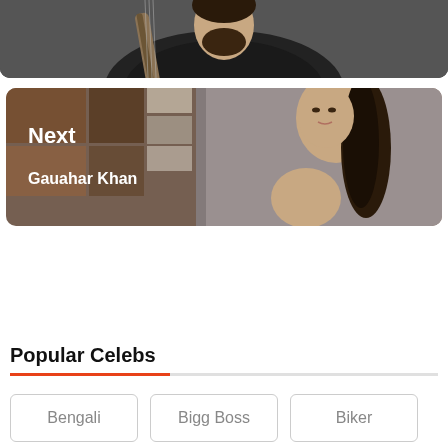[Figure (photo): Partial photo of a bearded man in a black jacket holding a guitar, cropped at the top]
[Figure (photo): Photo of Gauahar Khan, a woman with long hair in front of a geometric brown and white wall background, with text overlay 'Next' and 'Gauahar Khan']
Next
Gauahar Khan
Popular Celebs
Bengali
Bigg Boss
Biker